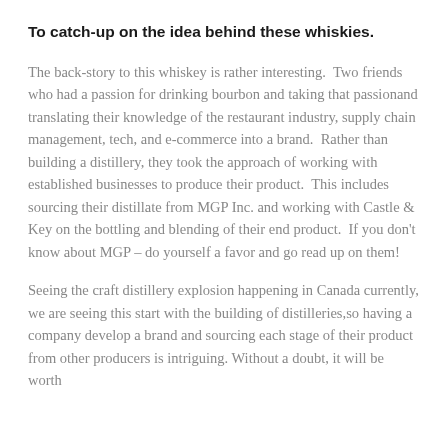To catch-up on the idea behind these whiskies.
The back-story to this whiskey is rather interesting.  Two friends who had a passion for drinking bourbon and taking that passionand translating their knowledge of the restaurant industry, supply chain management, tech, and e-commerce into a brand.  Rather than building a distillery, they took the approach of working with established businesses to produce their product.  This includes sourcing their distillate from MGP Inc. and working with Castle & Key on the bottling and blending of their end product.  If you don't know about MGP – do yourself a favor and go read up on them!
Seeing the craft distillery explosion happening in Canada currently, we are seeing this start with the building of distilleries,so having a company develop a brand and sourcing each stage of their product from other producers is intriguing. Without a doubt, it will be worth